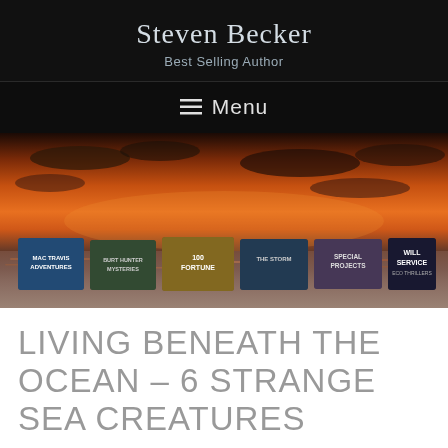Steven Becker
Best Selling Author
≡ Menu
[Figure (screenshot): Website banner with sunset ocean background and book series covers: Mac Travis Adventures, Burt Hunter Mysteries, 100 Fortune, The Storm, Special Projects, Will Service Eco Thrillers]
LIVING BENEATH THE OCEAN – 6 STRANGE SEA CREATURES